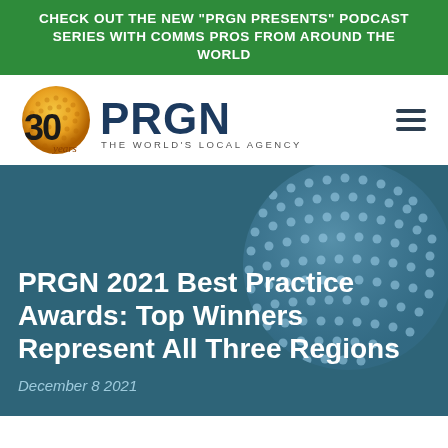CHECK OUT THE NEW "PRGN PRESENTS" PODCAST SERIES WITH COMMS PROS FROM AROUND THE WORLD
[Figure (logo): PRGN 30 Years logo with globe icon and tagline 'THE WORLD'S LOCAL AGENCY']
PRGN 2021 Best Practice Awards: Top Winners Represent All Three Regions
December 8 2021